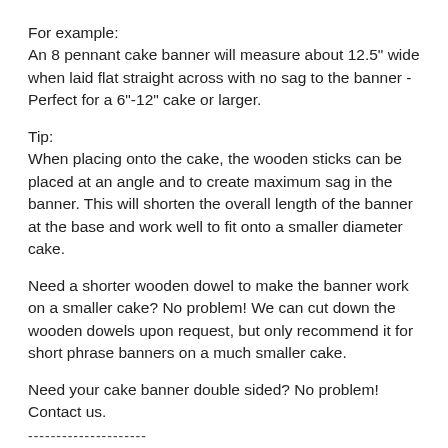For example:
An 8 pennant cake banner will measure about 12.5" wide when laid flat straight across with no sag to the banner - Perfect for a 6"-12" cake or larger.
Tip:
When placing onto the cake, the wooden sticks can be placed at an angle and to create maximum sag in the banner. This will shorten the overall length of the banner at the base and work well to fit onto a smaller diameter cake.
Need a shorter wooden dowel to make the banner work on a smaller cake? No problem! We can cut down the wooden dowels upon request, but only recommend it for short phrase banners on a much smaller cake.
Need your cake banner double sided? No problem! Contact us.
---------------------
TURNAROUND TIME AND SHIPPING:
All items are made to order. Please provide your honoree's name or custom text, and your cake size (diameter) at checkout. Once we've received this information, we'll go to work making your fun cake banner.